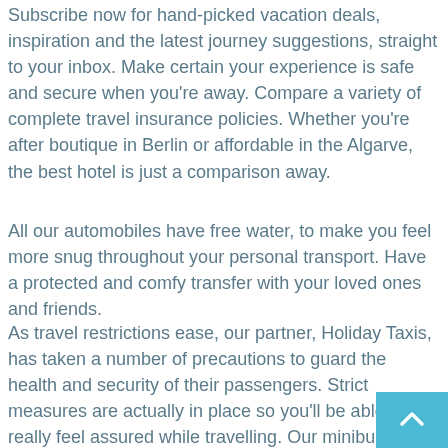Subscribe now for hand-picked vacation deals, inspiration and the latest journey suggestions, straight to your inbox. Make certain your experience is safe and secure when you're away. Compare a variety of complete travel insurance policies. Whether you're after boutique in Berlin or affordable in the Algarve, the best hotel is just a comparison away.
All our automobiles have free water, to make you feel more snug throughout your personal transport. Have a protected and comfy transfer with your loved ones and friends.
As travel restrictions ease, our partner, Holiday Taxis, has taken a number of precautions to guard the health and security of their passengers. Strict measures are actually in place so you'll be able to really feel assured while travelling. Our minibusses are spacious sufficient for a large